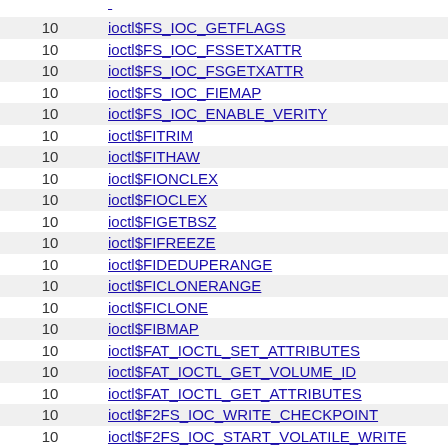|  |  |
| --- | --- |
| 10 | ioctl$FS_IOC_GETFLAGS |
| 10 | ioctl$FS_IOC_FSSETXATTR |
| 10 | ioctl$FS_IOC_FSGETXATTR |
| 10 | ioctl$FS_IOC_FIEMAP |
| 10 | ioctl$FS_IOC_ENABLE_VERITY |
| 10 | ioctl$FITRIM |
| 10 | ioctl$FITHAW |
| 10 | ioctl$FIONCLEX |
| 10 | ioctl$FIOCLEX |
| 10 | ioctl$FIGETBSZ |
| 10 | ioctl$FIFREEZE |
| 10 | ioctl$FIDEDUPERANGE |
| 10 | ioctl$FICLONERANGE |
| 10 | ioctl$FICLONE |
| 10 | ioctl$FIBMAP |
| 10 | ioctl$FAT_IOCTL_SET_ATTRIBUTES |
| 10 | ioctl$FAT_IOCTL_GET_VOLUME_ID |
| 10 | ioctl$FAT_IOCTL_GET_ATTRIBUTES |
| 10 | ioctl$F2FS_IOC_WRITE_CHECKPOINT |
| 10 | ioctl$F2FS_IOC_START_VOLATILE_WRITE |